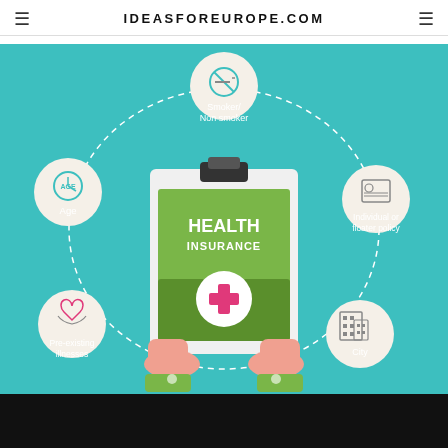IDEASFOREUROPE.COM
[Figure (infographic): Health insurance infographic on teal background showing a clipboard with 'HEALTH INSURANCE' text and a pink cross symbol held by two hands, surrounded by five circular icons connected by dashed lines: Smoker/Non smoker (top center), Individual or floater policy (top right), City (bottom right), Pre-existing illnesses (bottom left), Age (middle left).]